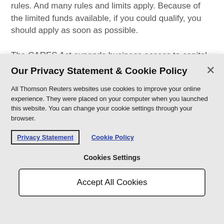rules. And many rules and limits apply. Because of the limited funds available, if you could qualify, you should apply as soon as possible.
The CARES Act expands business access to capital in
Our Privacy Statement & Cookie Policy
All Thomson Reuters websites use cookies to improve your online experience. They were placed on your computer when you launched this website. You can change your cookie settings through your browser.
Privacy Statement
Cookie Policy
Cookies Settings
Accept All Cookies